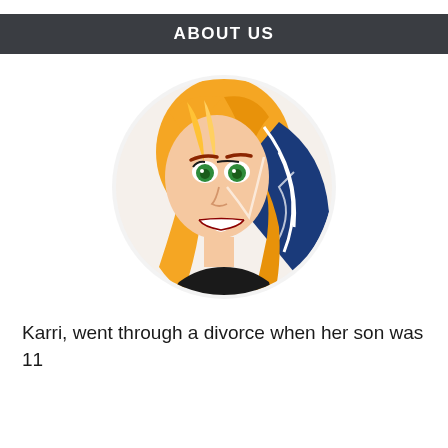ABOUT US
[Figure (illustration): Circular avatar illustration of an animated woman with orange/blonde hair and green eyes, overlapping with a volleyball graphic (blue and white). Soft light gray circular background behind the illustration.]
Karri, went through a divorce when her son was 11